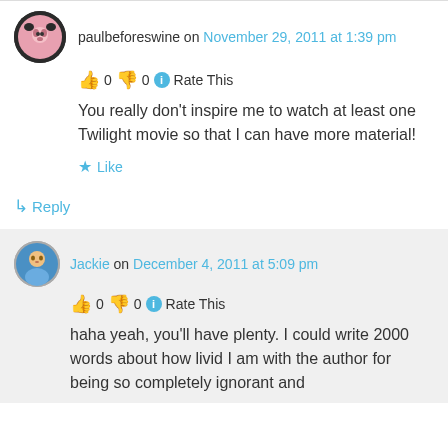paulbeforeswine on November 29, 2011 at 1:39 pm
👍 0 👎 0 ℹ Rate This
You really don't inspire me to watch at least one Twilight movie so that I can have more material!
★ Like
↳ Reply
Jackie on December 4, 2011 at 5:09 pm
👍 0 👎 0 ℹ Rate This
haha yeah, you'll have plenty. I could write 2000 words about how livid I am with the author for being so completely ignorant and